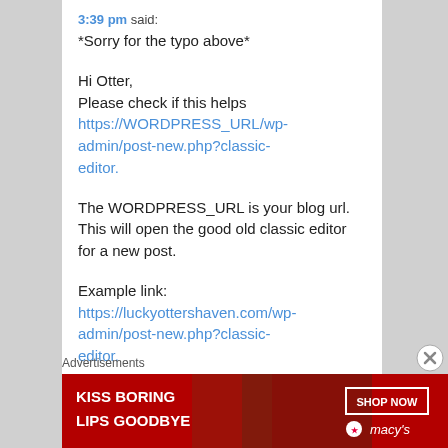3:39 pm said:
*Sorry for the typo above*
Hi Otter,
Please check if this helps
https://WORDPRESS_URL/wp-admin/post-new.php?classic-editor.
The WORDPRESS_URL is your blog url. This will open the good old classic editor for a new post.
Example link:
https://luckyottershaven.com/wp-admin/post-new.php?classic-editor.
Advertisements
[Figure (photo): Advertisement banner: 'KISS BORING LIPS GOODBYE' with SHOP NOW button and Macy's logo, red background with woman's face showing red lips]